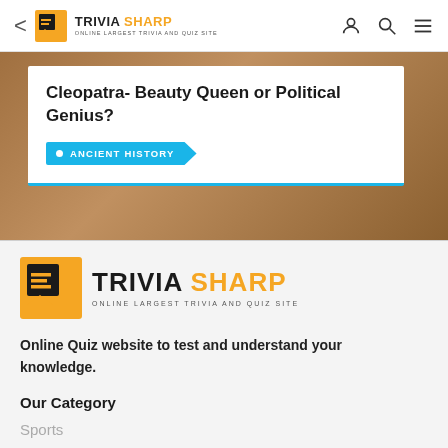Trivia Sharp - Online Largest Trivia and Quiz Site
Cleopatra- Beauty Queen or Political Genius?
ANCIENT HISTORY
[Figure (logo): Trivia Sharp logo - large version in footer with orange square icon and text]
Online Quiz website to test and understand your knowledge.
Our Category
Sports